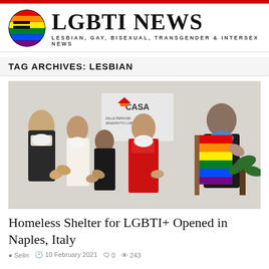LGBTI NEWS — LESBIAN, GAY, BISEXUAL, TRANSGENDER & INTERSEX NEWS
TAG ARCHIVES: LESBIAN
[Figure (photo): Group of people wearing face masks applauding in front of a wall sign reading CASA, with a person holding a rainbow flag on the right.]
Homeless Shelter for LGBTI+ Opened in Naples, Italy
Selin   10 February 2021   0   243